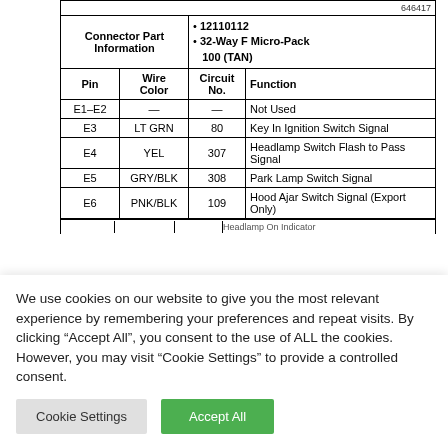| Pin | Wire Color | Circuit No. | Function |
| --- | --- | --- | --- |
| E1–E2 | — | — | Not Used |
| E3 | LT GRN | 80 | Key In Ignition Switch Signal |
| E4 | YEL | 307 | Headlamp Switch Flash to Pass Signal |
| E5 | GRY/BLK | 308 | Park Lamp Switch Signal |
| E6 | PNK/BLK | 109 | Hood Ajar Switch Signal (Export Only) |
We use cookies on our website to give you the most relevant experience by remembering your preferences and repeat visits. By clicking "Accept All", you consent to the use of ALL the cookies. However, you may visit "Cookie Settings" to provide a controlled consent.